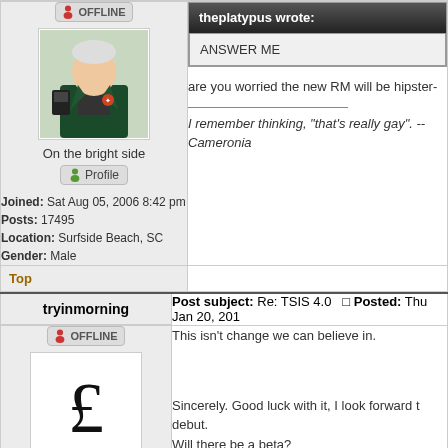| User | Post |
| --- | --- |
| On the bright side
Joined: Sat Aug 05, 2006 8:42 pm
Posts: 17495
Location: Surfside Beach, SC
Gender: Male | theplatypus wrote:
ANSWER ME

are you worried the new RM will be hipster-

I remember thinking, "that's really gay". -- Cameronia |
| Top |  |
| tryinmorning | Post subject: Re: TSIS 4.0  Posted: Thu Jan 20, 201 |
| Hipster doofus | This isn't change we can believe in.

Sincerely. Good luck with it, I look forward to debut.
Will there be a beta? |